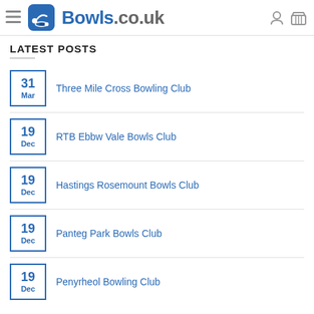Bowls.co.uk
LATEST POSTS
31 Mar — Three Mile Cross Bowling Club
19 Dec — RTB Ebbw Vale Bowls Club
19 Dec — Hastings Rosemount Bowls Club
19 Dec — Panteg Park Bowls Club
19 Dec — Penyrheol Bowling Club